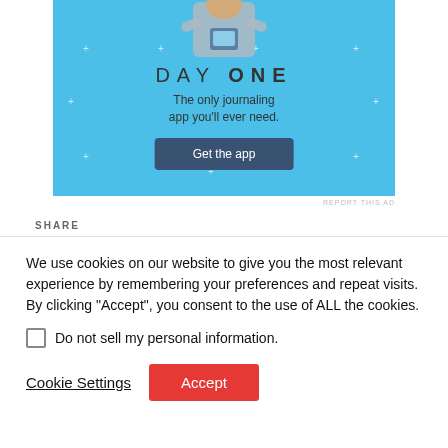[Figure (illustration): Day One app advertisement banner with light blue background, person holding smartphone illustration, 'DAY ONE' title, tagline 'The only journaling app you'll ever need.' and a dark blue 'Get the app' button]
REPORT THIS AD
SHARE
[Figure (screenshot): Three social share buttons: Facebook (blue), Twitter (light blue), Pinterest (red)]
We use cookies on our website to give you the most relevant experience by remembering your preferences and repeat visits. By clicking “Accept”, you consent to the use of ALL the cookies.
Do not sell my personal information.
Cookie Settings
Accept